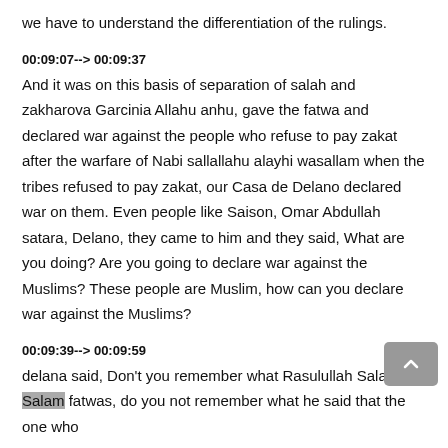we have to understand the differentiation of the rulings.
00:09:07--> 00:09:37
And it was on this basis of separation of salah and zakharova Garcinia Allahu anhu, gave the fatwa and declared war against the people who refuse to pay zakat after the warfare of Nabi sallallahu alayhi wasallam when the tribes refused to pay zakat, our Casa de Delano declared war on them. Even people like Saison, Omar Abdullah satara, Delano, they came to him and they said, What are you doing? Are you going to declare war against the Muslims? These people are Muslim, how can you declare war against the Muslims?
00:09:39--> 00:09:59
delana said, Don't you remember what Rasulullah Salallahu Salam fatwas, do you not remember what he said that the one who